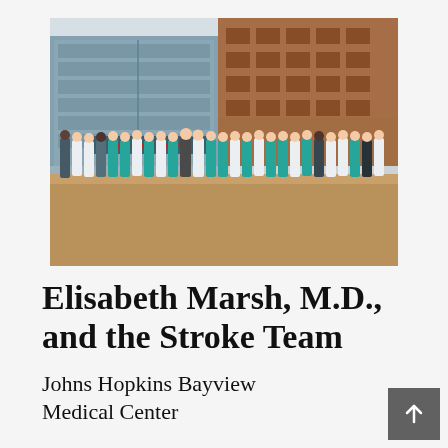[Figure (photo): Group photo of medical professionals — Elisabeth Marsh, M.D. and the Stroke Team — standing outside Johns Hopkins Bayview Medical Center emergency entrance. Staff are dressed in teal scrubs, white lab coats, and dark clothing. The background shows a modern glass and brick hospital building.]
Elisabeth Marsh, M.D., and the Stroke Team
Johns Hopkins Bayview Medical Center